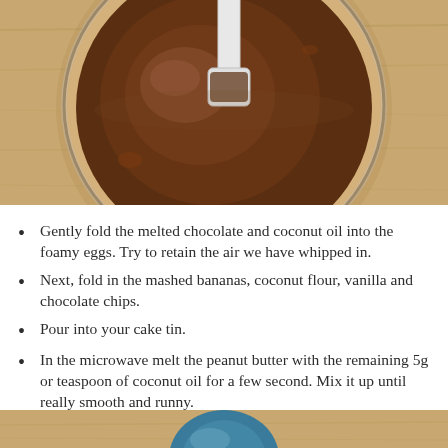[Figure (photo): Overhead view of a glass bowl containing melted chocolate being stirred with a white spatula, on a wooden surface.]
Gently fold the melted chocolate and coconut oil into the foamy eggs. Try to retain the air we have whipped in.
Next, fold in the mashed bananas, coconut flour, vanilla and chocolate chips.
Pour into your cake tin.
In the microwave melt the peanut butter with the remaining 5g or teaspoon of coconut oil for a few second. Mix it up until really smooth and runny.
[Figure (photo): Partial view of a blue circular object on a wooden surface, bottom of page.]